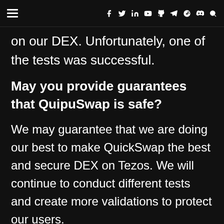≡  f  𝕐  in  ▶  ⌥  ✈  ⊕  ◻  🔍
on our DEX. Unfortunately, one of the tests was successful.
May you provide guarantees that QuipuSwap is safe?
We may guarantee that we are doing our best to make QuickSwap the best and secure DEX on Tezos. We will continue to conduct different tests and create more validations to protect our users.
What about sDAO farming pools?